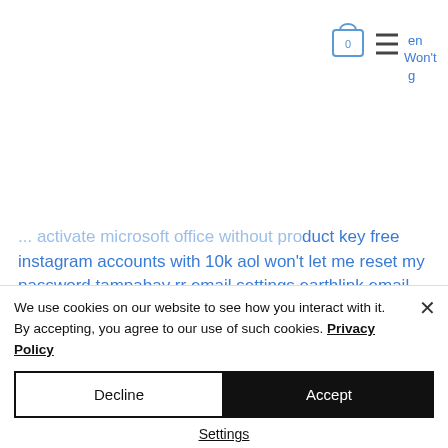[Figure (screenshot): Navigation bar icons: lock/cart icon with 0, hamburger menu icon, and blue text 'en Won't g']
... activate microsoft office without product key free instagram accounts with 10k aol won't let me reset my password tampabay rr email settings earthlink email settings outlook aol forgot password not working free supercell accounts old bellsouth email login hp printer paper jam
We use cookies on our website to see how you interact with it. By accepting, you agree to our use of such cookies. Privacy Policy
Decline
Accept
Settings